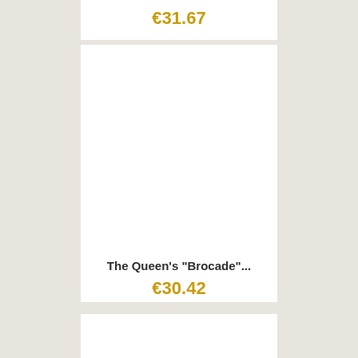€31.67
[Figure (photo): Product image area (white/blank) for a book or item]
The Queen's "Brocade"...
€30.42
[Figure (photo): Product image area (white/blank) — bottom card, partially visible]